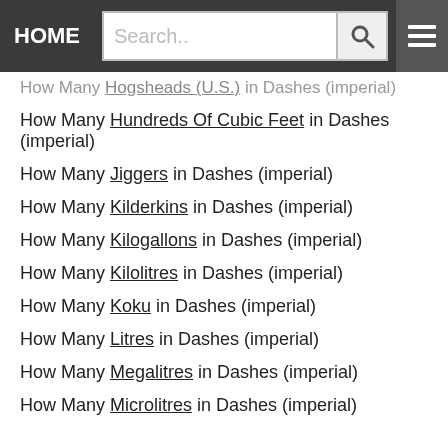HOME | Search..
How Many Hogsheads (U.S.) in Dashes (imperial)
How Many Hundreds Of Cubic Feet in Dashes (imperial)
How Many Jiggers in Dashes (imperial)
How Many Kilderkins in Dashes (imperial)
How Many Kilogallons in Dashes (imperial)
How Many Kilolitres in Dashes (imperial)
How Many Koku in Dashes (imperial)
How Many Litres in Dashes (imperial)
How Many Megalitres in Dashes (imperial)
How Many Microlitres in Dashes (imperial)